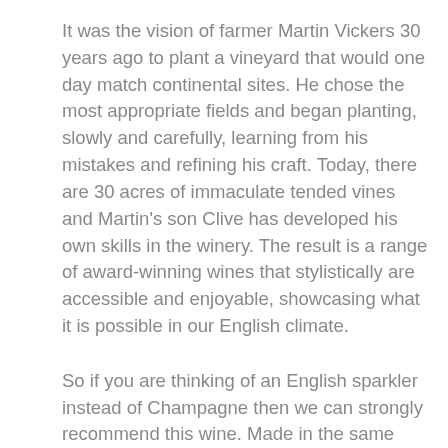It was the vision of farmer Martin Vickers 30 years ago to plant a vineyard that would one day match continental sites. He chose the most appropriate fields and began planting, slowly and carefully, learning from his mistakes and refining his craft. Today, there are 30 acres of immaculate tended vines and Martin's son Clive has developed his own skills in the winery. The result is a range of award-winning wines that stylistically are accessible and enjoyable, showcasing what it is possible in our English climate.
So if you are thinking of an English sparkler instead of Champagne then we can strongly recommend this wine. Made in the same way as Champagne, albeit with the inclusion of Seyval Blanc alongside Pinot Noir and Chardonnay, the quality and price point are excellent. It has refined apple and hazelnut flavours with an elegant mousse and persistent length.